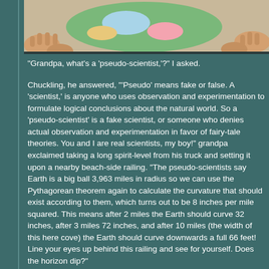[Figure (illustration): Colorful illustrated scene showing a child's map or globe with cartoon animals and geographic features, viewed from above with hands visible around the edges.]
"Grandpa, what's a 'pseudo-scientist,'?" I asked.
Chuckling, he answered, "'Pseudo' means fake or false. A 'scientist,' is anyone who uses observation and experimentation to formulate logical conclusions about the natural world. So a 'pseudo-scientist' is a fake scientist, or someone who denies actual observation and experimentation in favor of fairy-tale theories. You and I are real scientists, my boy!" grandpa exclaimed taking a long spirit-level from his truck and setting it upon a nearby beach-side railing. "The pseudo-scientists say Earth is a big ball 3,963 miles in radius so we can use the Pythagorean theorem again to calculate the curvature that should exist according to them, which turns out to be 8 inches per mile squared. This means after 2 miles the Earth should curve 32 inches, after 3 miles 72 inches, and after 10 miles (the width of this here cove) the Earth should curve downwards a full 66 feet! Line your eyes up behind this railing and see for yourself. Does the horizon dip?"
Observing the perfectly flat horizon from shore to shore I shook my head "no."